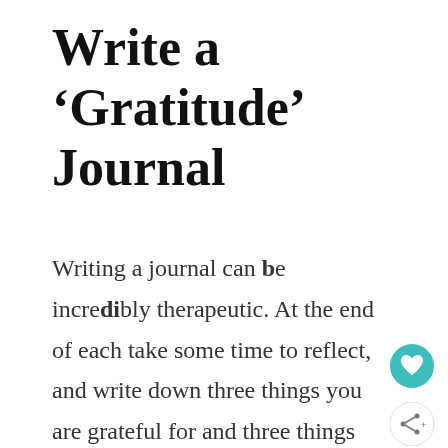Write a ‘Gratitude’ Journal
Writing a journal can be incredibly therapeutic. At the end of each take some time to reflect, and write down three things you are grateful for and three things which went well. Re-reading your gratitude journal is also a help on days when